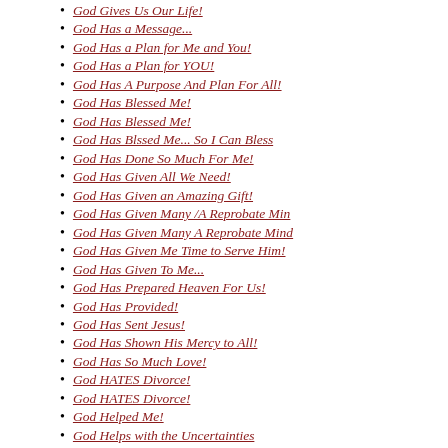God Gives Us Our Life!
God Has a Message...
God Has a Plan for Me and You!
God Has a Plan for YOU!
God Has A Purpose And Plan For All!
God Has Blessed Me!
God Has Blessed Me!
God Has Blssed Me... So I Can Bless
God Has Done So Much For Me!
God Has Given All We Need!
God Has Given an Amazing Gift!
God Has Given Many /A Reprobate Min
God Has Given Many A Reprobate Mind
God Has Given Me Time to Serve Him!
God Has Given To Me...
God Has Prepared Heaven For Us!
God Has Provided!
God Has Sent Jesus!
God Has Shown His Mercy to All!
God Has So Much Love!
God HATES Divorce!
God HATES Divorce!
God Helped Me!
God Helps with the Uncertainties
God Holds Tomorrow!
God Invites You to Know HIM!
God Is Alive!
God Is All That Matters!
God Is Always There!
God Is Always With Me!